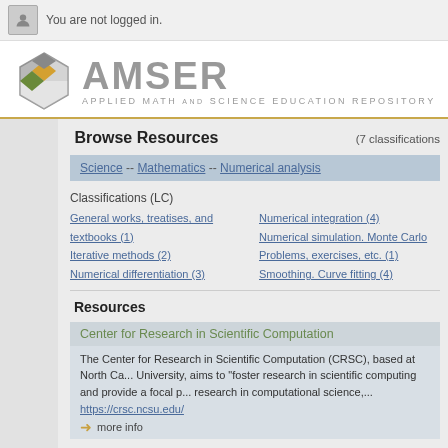You are not logged in.
[Figure (logo): CAMSER - Applied Math and Science Education Repository logo with geometric cube icon in gray and orange/green]
Browse Resources
(7 classifications
Science -- Mathematics -- Numerical analysis
Classifications (LC)
General works, treatises, and textbooks (1)
Iterative methods (2)
Numerical differentiation (3)
Numerical integration (4)
Numerical simulation. Monte Carlo
Problems, exercises, etc. (1)
Smoothing. Curve fitting (4)
Resources
Center for Research in Scientific Computation
The Center for Research in Scientific Computation (CRSC), based at North Ca... University, aims to "foster research in scientific computing and provide a focal p... research in computational science,...
https://crsc.ncsu.edu/
more info